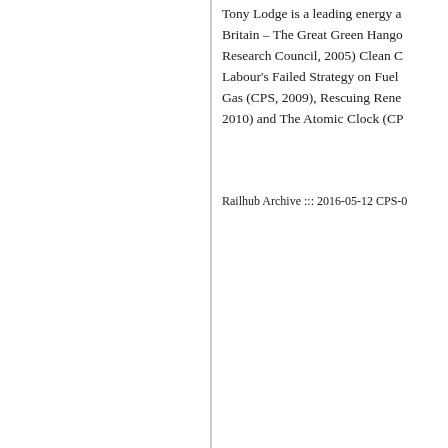Tony Lodge is a leading energy a... Britain – The Great Green Hangov... Research Council, 2005) Clean C... Labour's Failed Strategy on Fuel ... Gas (CPS, 2009), Rescuing Renew... 2010) and The Atomic Clock (CP...
Railhub Archive ::: 2016-05-12 CPS-0...